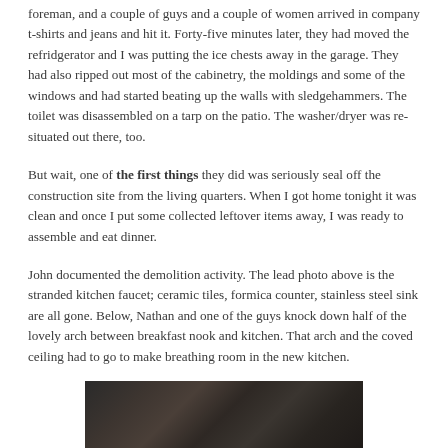foreman, and a couple of guys and a couple of women arrived in company t-shirts and jeans and hit it. Forty-five minutes later, they had moved the refridgerator and I was putting the ice chests away in the garage. They had also ripped out most of the cabinetry, the moldings and some of the windows and had started beating up the walls with sledgehammers. The toilet was disassembled on a tarp on the patio. The washer/dryer was re-situated out there, too.
But wait, one of the first things they did was seriously seal off the construction site from the living quarters. When I got home tonight it was clean and once I put some collected leftover items away, I was ready to assemble and eat dinner.
John documented the demolition activity. The lead photo above is the stranded kitchen faucet; ceramic tiles, formica counter, stainless steel sink are all gone. Below, Nathan and one of the guys knock down half of the lovely arch between breakfast nook and kitchen. That arch and the coved ceiling had to go to make breathing room in the new kitchen.
[Figure (photo): Dark photograph showing demolition activity in a kitchen area]